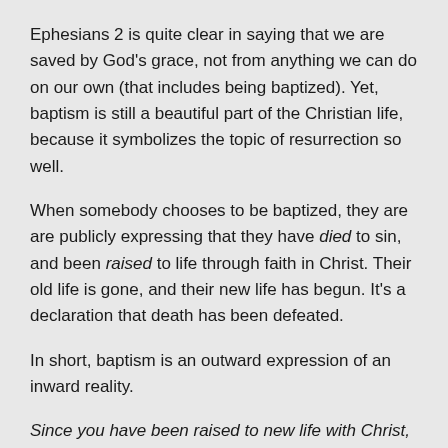Ephesians 2 is quite clear in saying that we are saved by God's grace, not from anything we can do on our own (that includes being baptized). Yet, baptism is still a beautiful part of the Christian life, because it symbolizes the topic of resurrection so well.
When somebody chooses to be baptized, they are are publicly expressing that they have died to sin, and been raised to life through faith in Christ. Their old life is gone, and their new life has begun. It's a declaration that death has been defeated.
In short, baptism is an outward expression of an inward reality.
Since you have been raised to new life with Christ, set your sights on the realities of heaven. (Colossians 3:1)
READING & JOURNALING